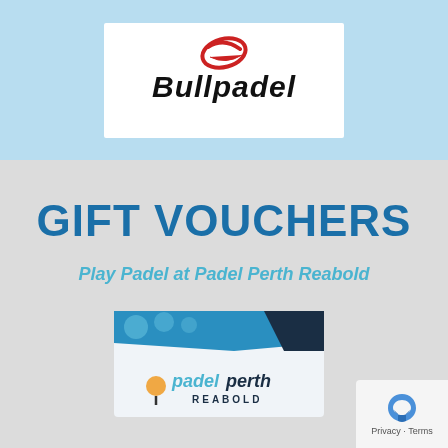[Figure (logo): Bullpadel brand logo — red swoosh icon above bold black italic 'Bullpadel' text, on white background]
GIFT VOUCHERS
Play Padel at Padel Perth Reabold
[Figure (illustration): Padel Perth Reabold gift voucher card with blue and dark navy geometric design on top, and padel perth REABOLD logo at the bottom]
[Figure (logo): reCAPTCHA logo with Privacy and Terms text]